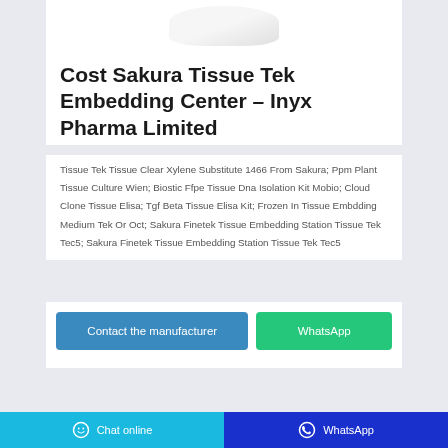[Figure (photo): Product image of a tissue embedding wax roll or cassette, shown in white/light gray on white background]
Cost Sakura Tissue Tek Embedding Center – Inyx Pharma Limited
Tissue Tek Tissue Clear Xylene Substitute 1466 From Sakura; Ppm Plant Tissue Culture Wien; Biostic Ffpe Tissue Dna Isolation Kit Mobio; Cloud Clone Tissue Elisa; Tgf Beta Tissue Elisa Kit; Frozen In Tissue Embdding Medium Tek Or Oct; Sakura Finetek Tissue Embedding Station Tissue Tek Tec5; Sakura Finetek Tissue Embedding Station Tissue Tek Tec5
Contact the manufacturer
WhatsApp
Chat online | WhatsApp